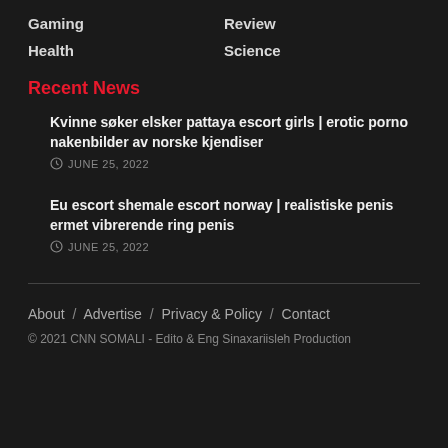Gaming
Review
Health
Science
Recent News
Kvinne søker elsker pattaya escort girls | erotic porno nakenbilder av norske kjendiser
JUNE 25, 2022
Eu escort shemale escort norway | realistiske penis ermet vibrerende ring penis
JUNE 25, 2022
About / Advertise / Privacy & Policy / Contact
© 2021 CNN SOMALI - Edito & Eng Sinaxariisleh Production